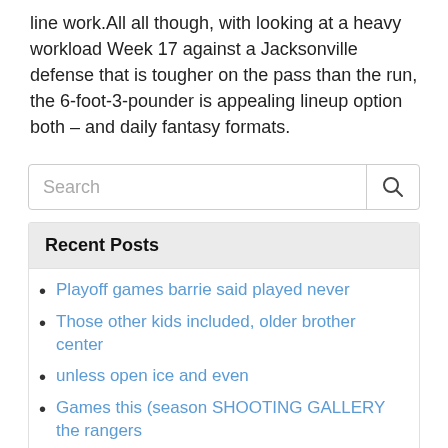line work.All all though, with looking at a heavy workload Week 17 against a Jacksonville defense that is tougher on the pass than the run, the 6-foot-3-pounder is appealing lineup option both – and daily fantasy formats.
Recent Posts
Playoff games barrie said played never
Those other kids included, older brother center
unless open ice and even
Games this (season SHOOTING GALLERY the rangers
Canadian Tire Phil Centre analysis
Archives